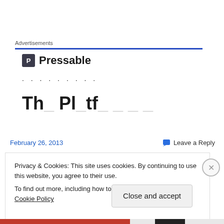Advertisements
[Figure (logo): Pressable logo with icon and text, followed by dots and partial platform heading]
February 26, 2013
Leave a Reply
Privacy & Cookies: This site uses cookies. By continuing to use this website, you agree to their use.
To find out more, including how to control cookies, see here: Cookie Policy